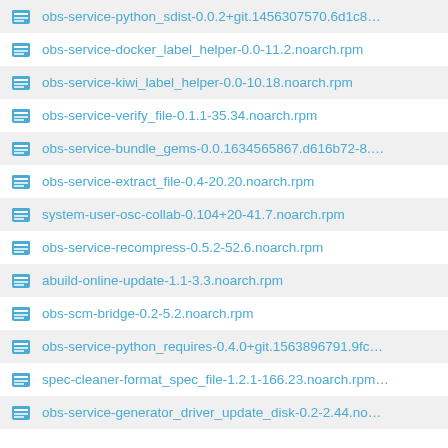obs-service-python_sdist-0.0.2+git.1456307570.6d1c8…
obs-service-docker_label_helper-0.0-11.2.noarch.rpm
obs-service-kiwi_label_helper-0.0-10.18.noarch.rpm
obs-service-verify_file-0.1.1-35.34.noarch.rpm
obs-service-bundle_gems-0.0.1634565867.d616b72-8.…
obs-service-extract_file-0.4-20.20.noarch.rpm
system-user-osc-collab-0.104+20-41.7.noarch.rpm
obs-service-recompress-0.5.2-52.6.noarch.rpm
abuild-online-update-1.1-3.3.noarch.rpm
obs-scm-bridge-0.2-5.2.noarch.rpm
obs-service-python_requires-0.4.0+git.1563896791.9fc…
spec-cleaner-format_spec_file-1.2.1-166.23.noarch.rpm…
obs-service-generator_driver_update_disk-0.2-2.44.no…